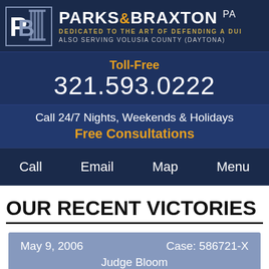[Figure (logo): Parks & Braxton PA law firm logo with stylized PB letters and column pillar icon]
PARKS & BRAXTON PA
DEDICATED TO THE ART OF DEFENDING A DUI
ALSO SERVING VOLUSIA COUNTY (DAYTONA)
Toll-Free
321.593.0222
Call 24/7 Nights, Weekends & Holidays
Free Consultations
Call   Email   Map   Menu
OUR RECENT VICTORIES
May 9, 2006	Case: 586721-X
Judge Bloom